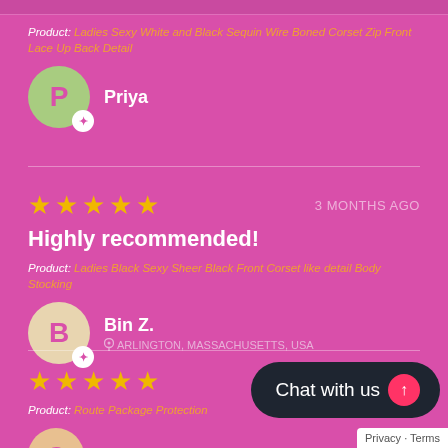Product: Ladies Sexy White and Black Sequin Wire Boned Corset Zip Front Lace Up Back Detail
Priya
Highly recommended!
3 MONTHS AGO
Product: Ladies Black Sexy Sheer Black Front Corset like detail Body Stocking
Bin Z.
ARLINGTON, MASSACHUSETTS, USA
Product: Route Package Protection